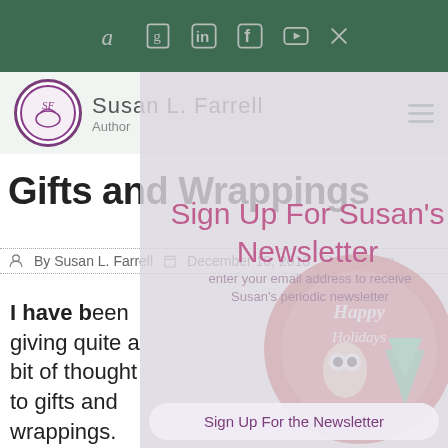Social icons: Amazon, Goodreads, LinkedIn, Facebook, YouTube, close
[Figure (logo): Susan L. Farrell Author logo - circular purple logo with stylized SF letters]
Susan L. Farrell Author
Sign Up For Susan's Newsletter
Gifts and Wrappings
By Susan L. Farrell  December 18, 2018  1:06 pm
I have been giving quite a bit of thought to gifts and wrappings. What's important, of course, is the gift.  The wrapping makes it
[Figure (illustration): Happy Holidays circular greeting card illustration with owl and Christmas tree]
Sign Up For the Newsletter